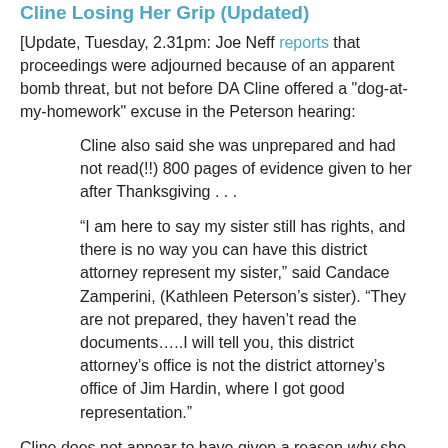Cline Losing Her Grip (Updated)
[Update, Tuesday, 2.31pm: Joe Neff reports that proceedings were adjourned because of an apparent bomb threat, but not before DA Cline offered a "dog-at-my-homework" excuse in the Peterson hearing:
Cline also said she was unprepared and had not read(!!) 800 pages of evidence given to her after Thanksgiving . . .
“I am here to say my sister still has rights, and there is no way you can have this district attorney represent my sister,” said Candace Zamperini, (Kathleen Peterson’s sister). “They are not prepared, they haven’t read the documents…..I will tell you, this district attorney’s office is not the district attorney’s office of Jim Hardin, where I got good representation.”
Cline does not appear to have given a reason why she didn’t do her job and read the relevant documents; she seemingly assumed that, at worst, Judge Hudson would allow her to